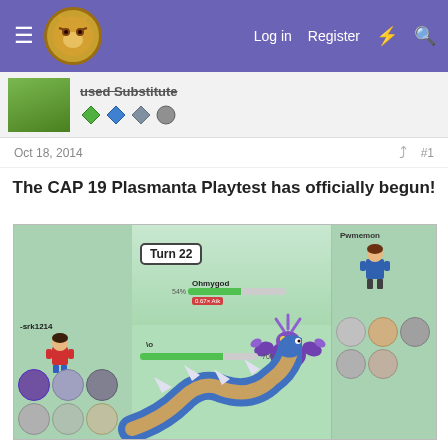Log in   Register
used Substitute
Oct 18, 2014   #1
The CAP 19 Plasmanta Playtest has officially begun!
[Figure (screenshot): Pokemon battle simulator screenshot showing Turn 22. Player (srk1214) has a large blue serpentine Pokemon on field with about 70% HP. Opposing trainer (Pwmemon) has a purple crab-like Pokemon named Ohmygod at 54% HP with a 0.67x Atk stat modifier shown. Left sidebar shows player's trainer sprite and Pokémon party icons. Right sidebar shows opponent's trainer sprite and party icons.]